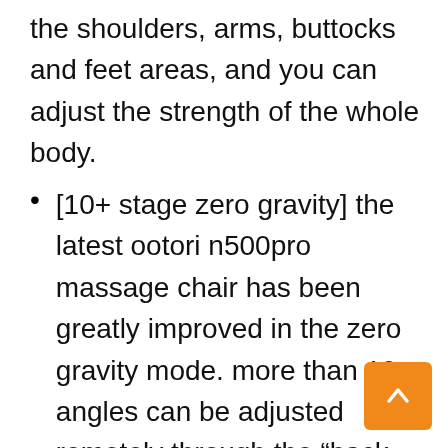the shoulders, arms, buttocks and feet areas, and you can adjust the strength of the whole body.
[10+ stage zero gravity] the latest ootori n500pro massage chair has been greatly improved in the zero gravity mode. more than 10 angles can be adjusted remotely through the “back down” or “back up” buttons.
[heating massage chair] this shiatsu massage chair has a heating function on the lower back, which